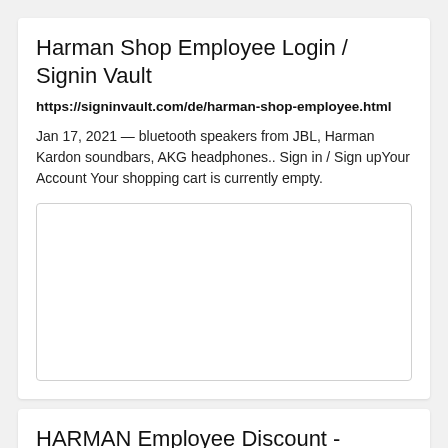Harman Shop Employee Login / Signin Vault
https://signinvault.com/de/harman-shop-employee.html
Jan 17, 2021 — bluetooth speakers from JBL, Harman Kardon soundbars, AKG headphones.. Sign in / Sign upYour Account Your shopping cart is currently empty.
[Figure (other): Empty white image placeholder box with light border]
HARMAN Employee Discount -